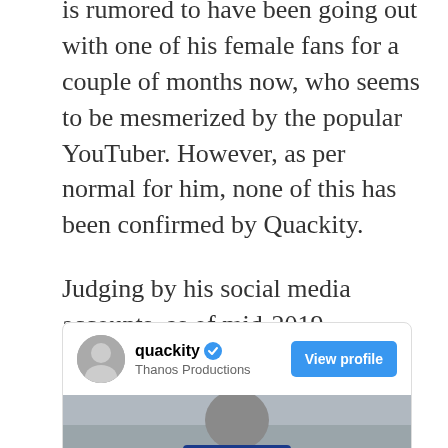is rumored to have been going out with one of his female fans for a couple of months now, who seems to be mesmerized by the popular YouTuber. However, as per normal for him, none of this has been confirmed by Quackity.
Judging by his social media accounts, as of mid-2019 Quackity appears to be single, hasn't married, and doesn't have any kids.
[Figure (screenshot): Instagram-style social media profile card for 'quackity' with blue verified checkmark, subtitle 'Thanos Productions', a blue 'View profile' button, and a photo below showing a person in a blue varsity jacket with letters 'A' and 'J' visible.]